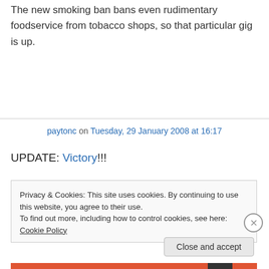The new smoking ban bans even rudimentary foodservice from tobacco shops, so that particular gig is up.
paytonc on Tuesday, 29 January 2008 at 16:17
UPDATE: Victory!!!
Privacy & Cookies: This site uses cookies. By continuing to use this website, you agree to their use.
To find out more, including how to control cookies, see here: Cookie Policy
Close and accept